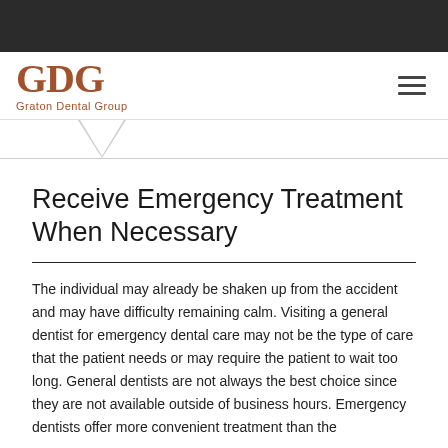[Figure (logo): Graton Dental Group logo with GDG monogram in brown/copper color]
Receive Emergency Treatment When Necessary
The individual may already be shaken up from the accident and may have difficulty remaining calm. Visiting a general dentist for emergency dental care may not be the type of care that the patient needs or may require the patient to wait too long. General dentists are not always the best choice since they are not available outside of business hours. Emergency dentists offer more convenient treatment than the